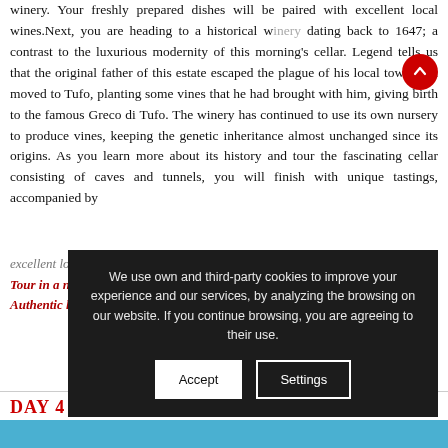winery. Your freshly prepared dishes will be paired with excellent local wines. Next, you are heading to a historical winery dating back to 1647; a contrast to the luxurious modernity of this morning's cellar. Legend tells us that the original father of this estate escaped the plague of his local town, and moved to Tufo, planting some vines that he had brought with him, giving birth to the famous Greco di Tufo. The winery has continued to use its own nursery to produce vines, keeping the genetic inheritance almost unchanged since its origins. As you learn more about its history and tour the fascinating cellar consisting of caves and tunnels, you will finish with unique tastings, accompanied by excellent local cheeses, salami and bread.
Tour in a nutshell: Chauffeured transportation. Two winery tours with tastings. Authentic lunch with wine. Overnight Sorrento.
We use own and third-party cookies to improve your experience and our services, by analyzing the browsing on our website. If you continue browsing, you are agreeing to their use.
Accept
Settings
DAY 4 CAPRI